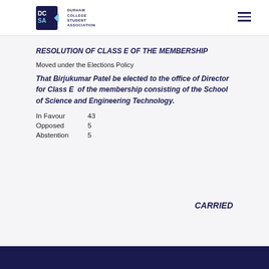[Figure (logo): Durham College Student Association (DCSA) logo with shield icon and text]
RESOLUTION OF CLASS E OF THE MEMBERSHIP
Moved under the Elections Policy
That Birjukumar Patel be elected to the office of Director for Class E of the membership consisting of the School of Science and Engineering Technology.
In Favour   43
Opposed     5
Abstention  5
CARRIED